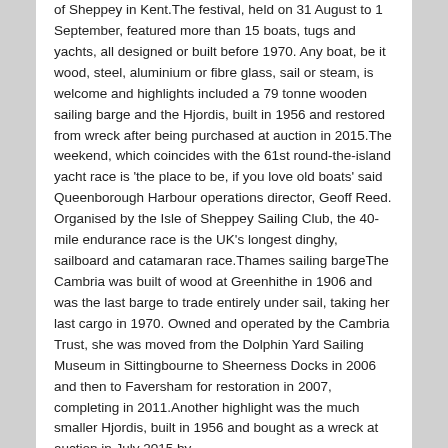of Sheppey in Kent.The festival, held on 31 August to 1 September, featured more than 15 boats, tugs and yachts, all designed or built before 1970. Any boat, be it wood, steel, aluminium or fibre glass, sail or steam, is welcome and highlights included a 79 tonne wooden sailing barge and the Hjordis, built in 1956 and restored from wreck after being purchased at auction in 2015.The weekend, which coincides with the 61st round-the-island yacht race is 'the place to be, if you love old boats' said Queenborough Harbour operations director, Geoff Reed. Organised by the Isle of Sheppey Sailing Club, the 40-mile endurance race is the UK's longest dinghy, sailboard and catamaran race.Thames sailing bargeThe Cambria was built of wood at Greenhithe in 1906 and was the last barge to trade entirely under sail, taking her last cargo in 1970. Owned and operated by the Cambria Trust, she was moved from the Dolphin Yard Sailing Museum in Sittingbourne to Sheerness Docks in 2006 and then to Faversham for restoration in 2007, completing in 2011.Another highlight was the much smaller Hjordis, built in 1956 and bought as a wreck at auction in July 2015 by